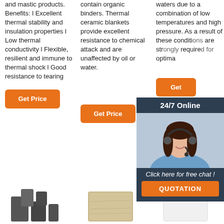and mastic products. Benefits: l Excellent thermal stability and insulation properties l Low thermal conductivity l Flexible, resilient and immune to thermal shock l Good resistance to tearing
contain organic binders. Thermal ceramic blankets provide excellent resistance to chemical attack and are unaffected by oil or water.
waters due to a combination of low temperatures and high pressure. As a result of these conditions are strongly required optimal
[Figure (other): 24/7 Online chat widget with female agent photo, 'Click here for free chat!' text and QUOTATION button]
Get Price (column 1 button)
Get Price (column 2 button)
Get (column 3 button, partially visible)
[Figure (other): TOP navigation button with orange dots forming triangle and orange TOP text]
[Figure (photo): Product image 1 - dark grey refractory bricks/blocks]
[Figure (photo): Product image 2 - light tan/cream colored refractory brick]
[Figure (photo): Product image 3 - white refractory block]